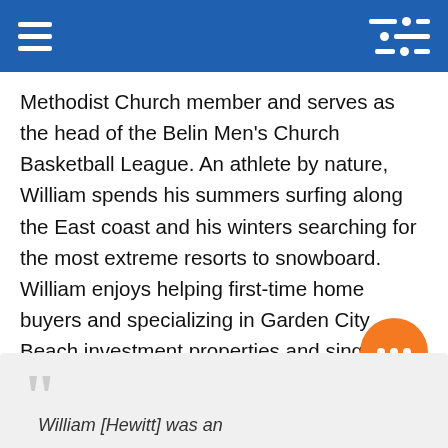[Navigation bar with hamburger menu and filter/settings icon]
Methodist Church member and serves as the head of the Belin Men's Church Basketball League. An athlete by nature, William spends his summers surfing along the East coast and his winters searching for the most extreme resorts to snowboard. William enjoys helping first-time home buyers and specializing in Garden City Beach investment properties and single-family residences in Surfside Beach, Murrells Inlet, and Pawleys Island. He represents integrity and respect in every aspect of the real estate transaction, and his creative energy makes it impossible not to get excited when working with him.
William [Hewitt] was an